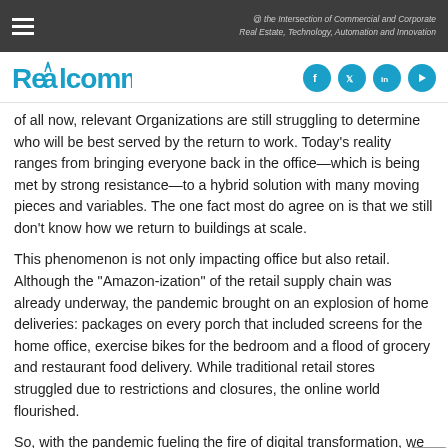@ the Intersection of Commercial and Corporate Real Estate, Technology, Automation and Innovation
[Figure (logo): Realcomm logo in blue with social media icons (Facebook, Twitter, LinkedIn, YouTube)]
of all now, relevant Organizations are still struggling to determine who will be best served by the return to work. Today’s reality ranges from bringing everyone back in the office—which is being met by strong resistance—to a hybrid solution with many moving pieces and variables. The one fact most do agree on is that we still don’t know how we return to buildings at scale.
This phenomenon is not only impacting office but also retail. Although the “Amazon-ization” of the retail supply chain was already underway, the pandemic brought on an explosion of home deliveries: packages on every porch that included screens for the home office, exercise bikes for the bedroom and a flood of grocery and restaurant food delivery. While traditional retail stores struggled due to restrictions and closures, the online world flourished.
So, with the pandemic fueling the fire of digital transformation, we find ourselves in an unfamiliar place.